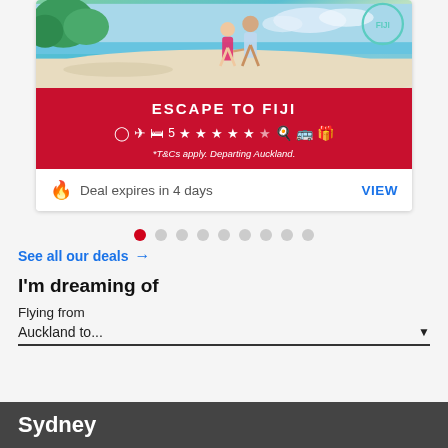[Figure (photo): Travel deal card showing Fiji beach photo with couple walking on beach, red banner with ESCAPE TO FIJI text, icons for flight/hotel/stars/dining/bus/gift, T&Cs note, and deal expiry notice]
Deal expires in 4 days
VIEW
[Figure (infographic): Pagination dots row with first dot active (red) and 8 inactive grey dots]
See all our deals →
I'm dreaming of
Flying from
Auckland to...
Sydney